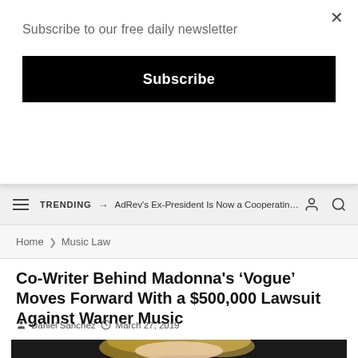Subscribe to our free daily newsletter
Subscribe
TRENDING → AdRev's Ex-President Is Now a Cooperating Wi...
Home > Music Law
Co-Writer Behind Madonna's 'Vogue' Moves Forward With a $500,000 Lawsuit Against Warner Music
Daniel Sanchez  March 27, 2019
[Figure (photo): Photo of Madonna performing on stage with a microphone, dark background, blonde hair]